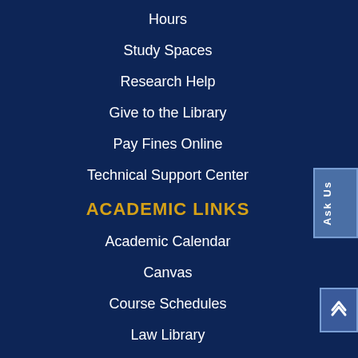Hours
Study Spaces
Research Help
Give to the Library
Pay Fines Online
Technical Support Center
ACADEMIC LINKS
Academic Calendar
Canvas
Course Schedules
Law Library
Majors & Minors
Rattler Success Center
UNIVERSITY LINKS